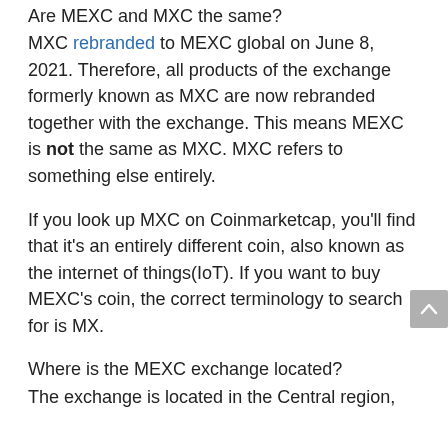Are MEXC and MXC the same?
MXC rebranded to MEXC global on June 8, 2021. Therefore, all products of the exchange formerly known as MXC are now rebranded together with the exchange. This means MEXC is not the same as MXC. MXC refers to something else entirely.
If you look up MXC on Coinmarketcap, you'll find that it's an entirely different coin, also known as the internet of things(IoT). If you want to buy MEXC's coin, the correct terminology to search for is MX.
Where is the MEXC exchange located?
The exchange is located in the Central region,